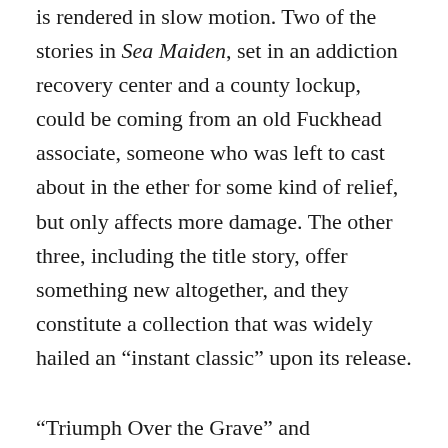is rendered in slow motion. Two of the stories in Sea Maiden, set in an addiction recovery center and a county lockup, could be coming from an old Fuckhead associate, someone who was left to cast about in the ether for some kind of relief, but only affects more damage. The other three, including the title story, offer something new altogether, and they constitute a collection that was widely hailed an “instant classic” upon its release.
“Triumph Over the Grave” and “Doppleganger, Poltergeist,” the other two in the glorious above-mentioned trio, are peopled with writers rather than barflies or criminals, and the register shifts from